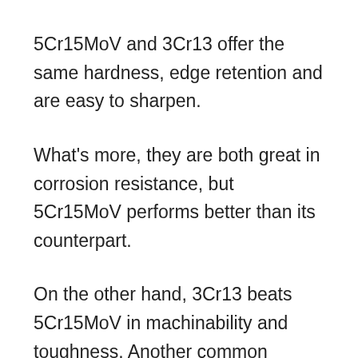5Cr15MoV and 3Cr13 offer the same hardness, edge retention and are easy to sharpen.
What's more, they are both great in corrosion resistance, but 5Cr15MoV performs better than its counterpart.
On the other hand, 3Cr13 beats 5Cr15MoV in machinability and toughness. Another common feature is that knives made from